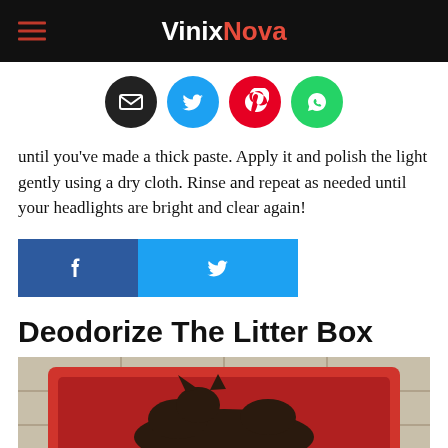VinixNova
[Figure (infographic): Social sharing icons: email (black circle), Twitter (blue circle), Pinterest (red circle), WhatsApp (green circle)]
until you've made a thick paste. Apply it and polish the light gently using a dry cloth. Rinse and repeat as needed until your headlights are bright and clear again!
[Figure (infographic): Share buttons: Facebook (dark blue with f icon) and Twitter (light blue with bird icon)]
Deodorize The Litter Box
[Figure (photo): A cat sitting in a red litter box on a tiled surface, viewed from above]